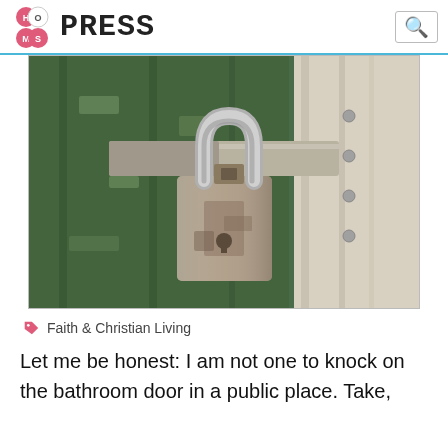Hot Mess Press
[Figure (photo): Close-up photograph of a rusty metal padlock securing a latch on a green painted wooden door, with a white painted wooden frame visible on the right.]
Faith & Christian Living
Let me be honest: I am not one to knock on the bathroom door in a public place. Take,